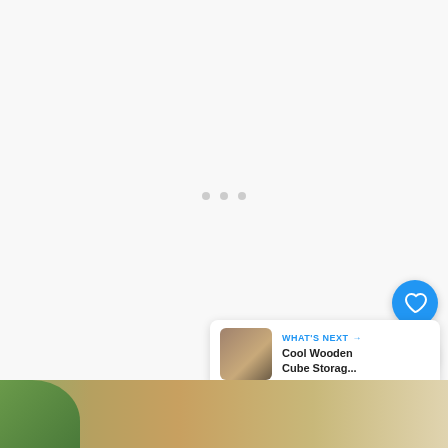[Figure (screenshot): Web page screenshot showing a mostly white/light gray content area with three small gray dots centered in the middle (loading indicator or carousel dots), a blue heart/like button with share button on the right side, a counter showing '2', a 'WHAT'S NEXT' card in the bottom right corner linking to 'Cool Wooden Cube Storag...', and a partial bottom photo showing a wooden surface with green plants.]
2
WHAT'S NEXT →
Cool Wooden Cube Storag...